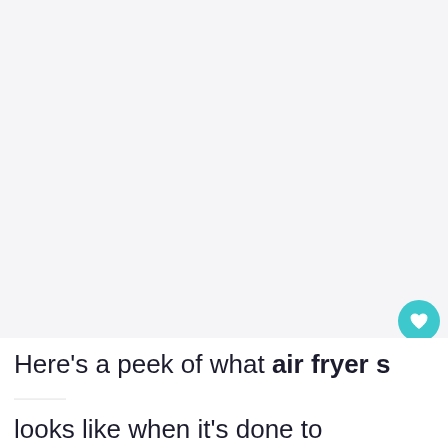[Figure (photo): Large white/light gray image area representing a food photo (air fryer salmon), mostly blank/washed out in this view]
Here’s a peek of what air fryer s— looks like when it’s done to perfection